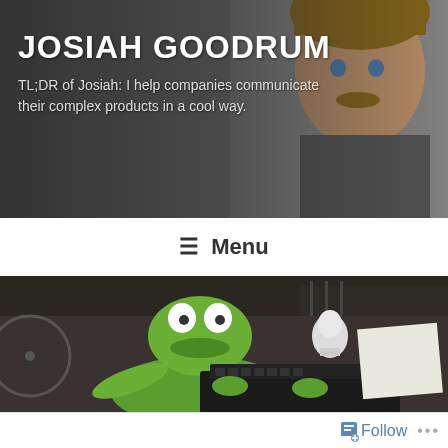JOSIAH GOODRUM
TL;DR of Josiah: I help companies communicate their complex products in a cool way.
≡ Menu
[Figure (photo): Kermit the Frog puppet sitting at a typewriter in a cluttered room with a white bust sculpture visible in the background]
Follow